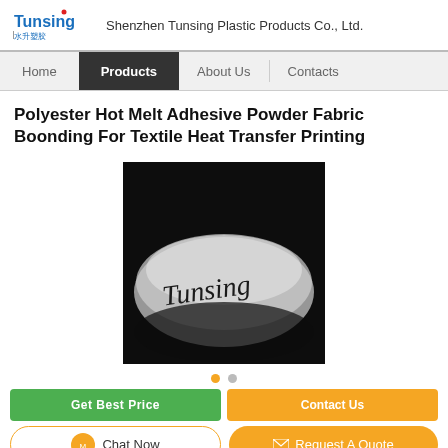Shenzhen Tunsing Plastic Products Co., Ltd.
Home | Products | About Us | Contacts
Polyester Hot Melt Adhesive Powder Fabric Boonding For Textile Heat Transfer Printing
[Figure (photo): Black and white photo of a curved translucent material with 'Tunsing' written on it in cursive handwriting]
Chat Now | Request A Quote